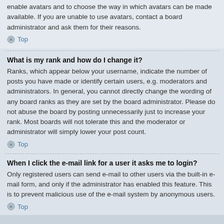enable avatars and to choose the way in which avatars can be made available. If you are unable to use avatars, contact a board administrator and ask them for their reasons.
Top
What is my rank and how do I change it?
Ranks, which appear below your username, indicate the number of posts you have made or identify certain users, e.g. moderators and administrators. In general, you cannot directly change the wording of any board ranks as they are set by the board administrator. Please do not abuse the board by posting unnecessarily just to increase your rank. Most boards will not tolerate this and the moderator or administrator will simply lower your post count.
Top
When I click the e-mail link for a user it asks me to login?
Only registered users can send e-mail to other users via the built-in e-mail form, and only if the administrator has enabled this feature. This is to prevent malicious use of the e-mail system by anonymous users.
Top